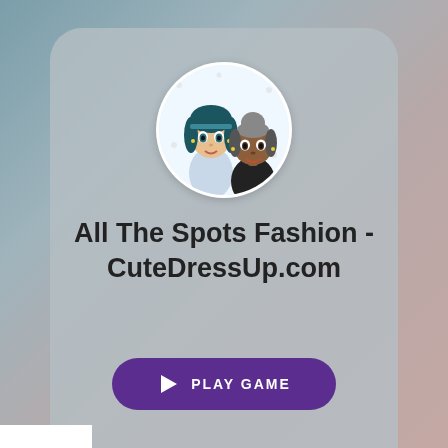[Figure (screenshot): Mobile app/game card UI showing a fashion game titled 'All The Spots Fashion - CuteDressUp.com' with a circular avatar of two cartoon princess characters, a purple 'PLAY GAME' button, and a chevron dropdown below. An ad banner for BitLife - Life Simulator appears at the bottom with an Install button.]
All The Spots Fashion - CuteDressUp.com
PLAY GAME
Ad
BitLife - Life Simulator
Install!